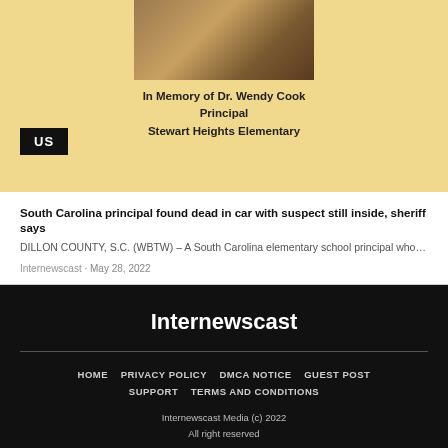[Figure (photo): Photo of Dr. Wendy Cook with a memorial overlay on golden/tan background]
In Memory of Dr. Wendy Cook
Principal
Stewart Heights Elementary
South Carolina principal found dead in car with suspect still inside, sheriff says
DILLON COUNTY, S.C. (WBTW) – A South Carolina elementary school principal who…
Internewscast · May 28, 2022
Internewscast
HOME  PRIVACY POLICY  DMCA NOTICE  GUEST POST  SUPPORT  TERMS AND CONDITIONS
Internewscast Media (c) 2022
All right reserved